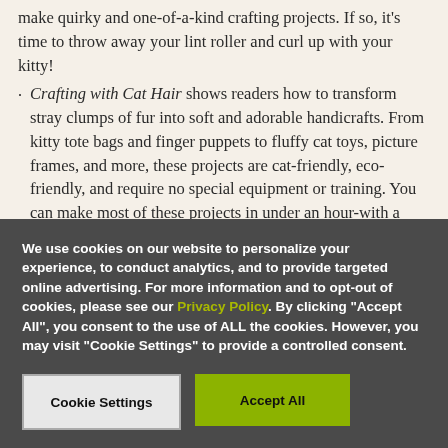make quirky and one-of-a-kind crafting projects. If so, it's time to throw away your lint roller and curl up with your kitty!
Crafting with Cat Hair shows readers how to transform stray clumps of fur into soft and adorable handicrafts. From kitty tote bags and finger puppets to fluffy cat toys, picture frames, and more, these projects are cat-friendly, eco-friendly, and require no special equipment or training. You can make most of these projects in under an hour-with a little help, of course, from your [kitty!]
We use cookies on our website to personalize your experience, to conduct analytics, and to provide targeted online advertising. For more information and to opt-out of cookies, please see our Privacy Policy. By clicking "Accept All", you consent to the use of ALL the cookies. However, you may visit "Cookie Settings" to provide a controlled consent.